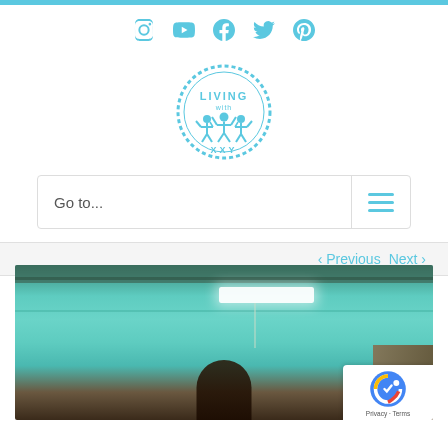Social media icons: Instagram, YouTube, Facebook, Twitter, Pinterest
[Figure (logo): Living with XXY circular logo with blue border and figures]
Go to...
< Previous   Next >
[Figure (photo): Photo of a person in a room with teal/green walls and overhead fluorescent lighting]